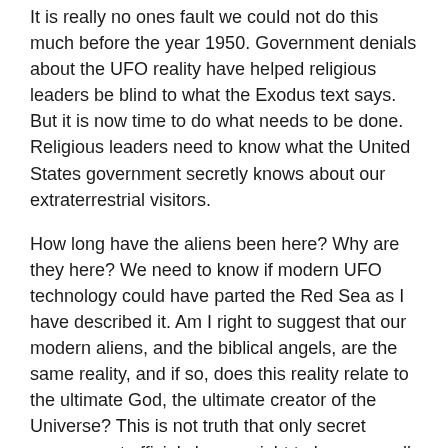It is really no ones fault we could not do this much before the year 1950. Government denials about the UFO reality have helped religious leaders be blind to what the Exodus text says. But it is now time to do what needs to be done. Religious leaders need to know what the United States government secretly knows about our extraterrestrial visitors.
How long have the aliens been here? Why are they here? We need to know if modern UFO technology could have parted the Red Sea as I have described it. Am I right to suggest that our modern aliens, and the biblical angels, are the same reality, and if so, does this reality relate to the ultimate God, the ultimate creator of the Universe? This is not truth that only secret government officials have a right to know, we all have a right to know.
–Barry H. Downing